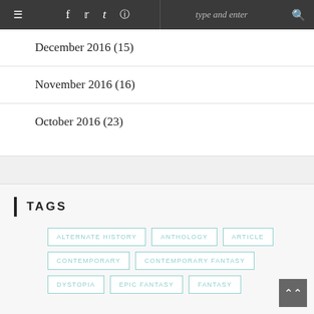≡  f  t  t  [instagram]  type and enter  🔍
December 2016 (15)
November 2016 (16)
October 2016 (23)
TAGS
ALTERNATE HISTORY
ANTHOLOGY
ARTICLE
CONTEMPORARY
CONTEMPORARY FANTASY
DYSTOPIA
EPIC FANTASY
FANTASY